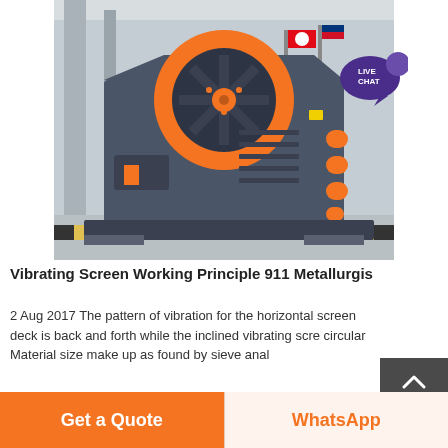[Figure (photo): Industrial jaw crusher / vibrating screen machine with orange flywheel and orange circular accent bolts on the side, mounted on a steel frame, photographed in what appears to be a factory or exhibition yard with flags in background. LIVE CHAT bubble overlay in upper right.]
Vibrating Screen Working Principle 911 Metallurgis
2 Aug 2017 The pattern of vibration for the horizontal screen deck is back and forth while the inclined vibrating scre circular Material size make up as found by sieve anal...
Get a Quote
WhatsApp